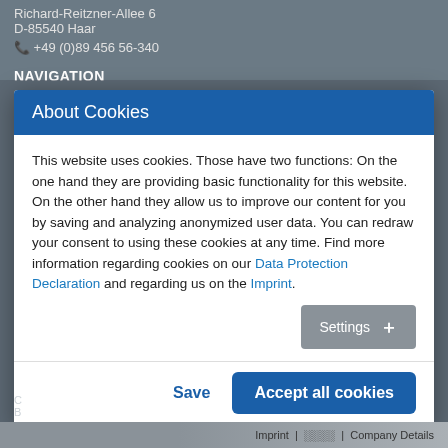Richard-Reitzner-Allee 6
D-85540 Haar
📞 +49 (0)89 456 56-340
NAVIGATION
About Cookies
This website uses cookies. Those have two functions: On the one hand they are providing basic functionality for this website. On the other hand they allow us to improve our content for you by saving and analyzing anonymized user data. You can redraw your consent to using these cookies at any time. Find more information regarding cookies on our Data Protection Declaration and regarding us on the Imprint.
Settings +
Save
Accept all cookies
Imprint |       | Company Details